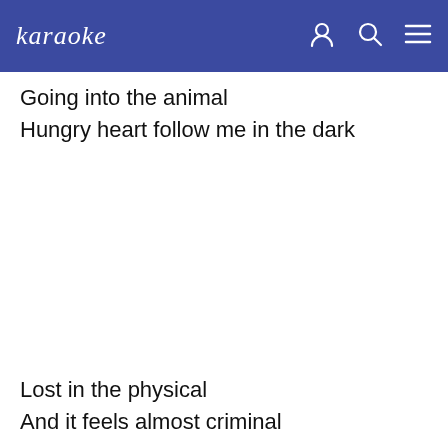karaoke
Going into the animal
Hungry heart follow me in the dark
Lost in the physical
And it feels almost criminal